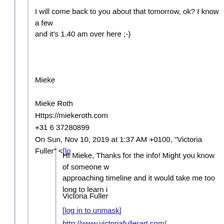I will come back to you about that tomorrow, ok? I know a few and it's 1.40 am over here ;-)
Mieke
Mieke Roth
Https://miekeroth.com
+31 6 37280899
On Sun, Nov 10, 2019 at 1:37 AM +0100, "Victoria Fuller" <[log in to unmask]
HI Mieke, Thanks for the info! Might you know of someone w approaching timeline and it would take me too long to learn i
Victoria Fuller
[log in to unmask]
http://www.victoriafullerart.com/